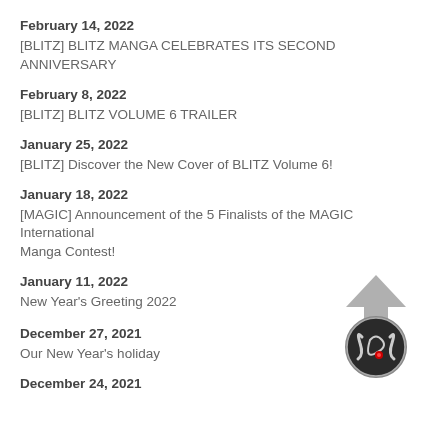February 14, 2022
[BLITZ] BLITZ MANGA CELEBRATES ITS SECOND ANNIVERSARY
February 8, 2022
[BLITZ] BLITZ VOLUME 6 TRAILER
January 25, 2022
[BLITZ] Discover the New Cover of BLITZ Volume 6!
January 18, 2022
[MAGIC] Announcement of the 5 Finalists of the MAGIC International Manga Contest!
January 11, 2022
New Year's Greeting 2022
[Figure (logo): Circular logo with stylized snake/dragon emblem on dark background with arrow pointing up]
December 27, 2021
Our New Year's holiday
December 24, 2021